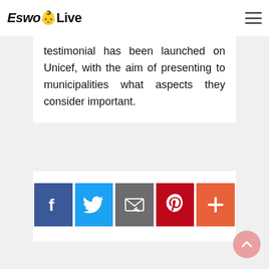EswoLive
testimonial has been launched on Unicef, with the aim of presenting to municipalities what aspects they consider important.
[Figure (other): Social media share buttons: Facebook (blue), Twitter (light blue), Email (gray), Pinterest (red), More/Plus (orange-red)]